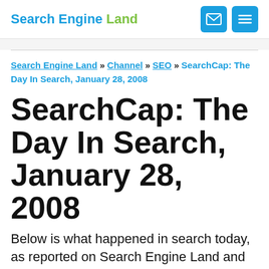Search Engine Land
Search Engine Land » Channel » SEO » SearchCap: The Day In Search, January 28, 2008
SearchCap: The Day In Search, January 28, 2008
Below is what happened in search today, as reported on Search Engine Land and from other places across the web. From